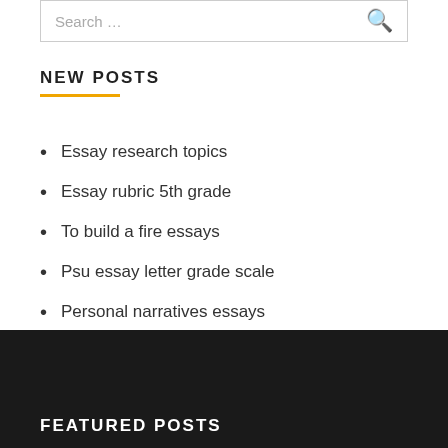Search …
NEW POSTS
Essay research topics
Essay rubric 5th grade
To build a fire essays
Psu essay letter grade scale
Personal narratives essays
FEATURED POSTS